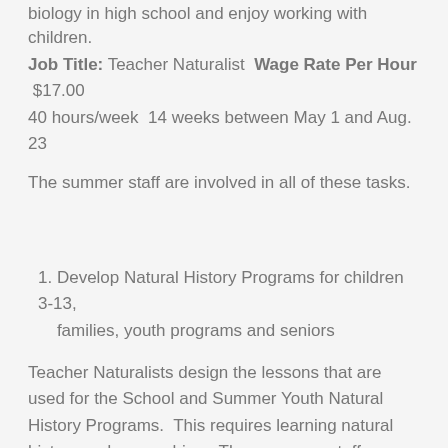biology in high school and enjoy working with children.
Job Title: Teacher Naturalist  Wage Rate Per Hour  $17.00  40 hours/week  14 weeks between May 1 and Aug. 23
The summer staff are involved in all of these tasks.
1. Develop Natural History Programs for children 3-13, families, youth programs and seniors
Teacher Naturalists design the lessons that are used for the School and Summer Youth Natural History Programs.  This requires learning natural history and researching.  The programs staff develop are used as school programs, family